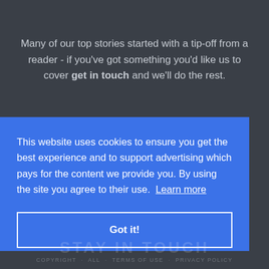Many of our top stories started with a tip-off from a reader - if you've got something you'd like us to cover get in touch and we'll do the rest.
This website uses cookies to ensure you get the best experience and to support advertising which pays for the content we provide you. By using the site you agree to their use. Learn more
Got it!
COPYRIGHT · ALL · TERMS OF USE · PRIVACY POLICY